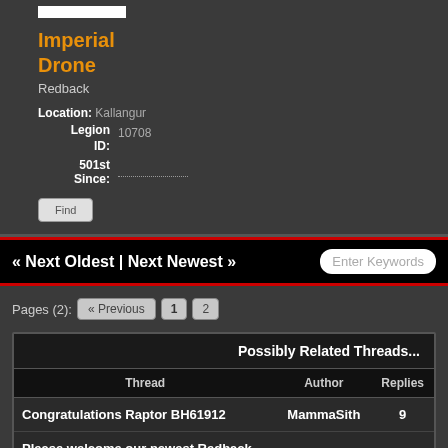Imperial Drone
Redback
Location: Kallangur
Legion ID: 10708
501st Since:
« Next Oldest | Next Newest »
Pages (2): « Previous  1  2
| Thread | Author | Replies |
| --- | --- | --- |
| Congratulations Raptor BH61912 | MammaSith | 9 |  |
| Please welcome our newest Redback |  |  |  |